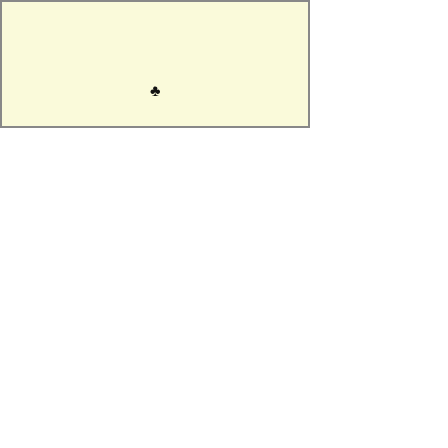[Figure (map): Partial map region shown with light yellow background and a small club/spade symbol marker near center]
[Figure (photo): Variety Highlight section header in dark green, followed by a photo panel labeled PSEUDERANTH... with a black background image containing a diagonal watermark reading 'CaliforniaSpringTrial' and partial text below]